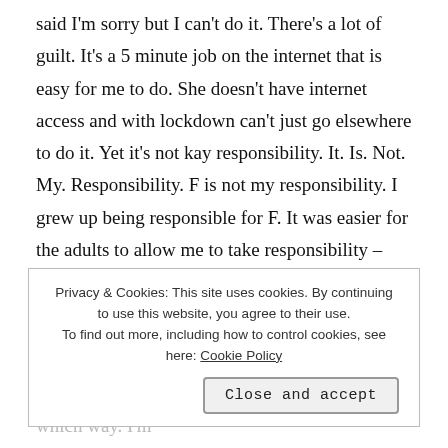said I'm sorry but I can't do it. There's a lot of guilt. It's a 5 minute job on the internet that is easy for me to do. She doesn't have internet access and with lockdown can't just go elsewhere to do it. Yet it's not kay responsibility. It. Is. Not. My. Responsibility. F is not my responsibility. I grew up being responsible for F. It was easier for the adults to allow me to take responsibility – even though it negatively impacted my life – because they either ignored it, or because I was taking
Privacy & Cookies: This site uses cookies. By continuing to use this website, you agree to their use.
To find out more, including how to control cookies, see here: Cookie Policy
Close and accept
so easily can and it doesn't harm me in any which way. I'm